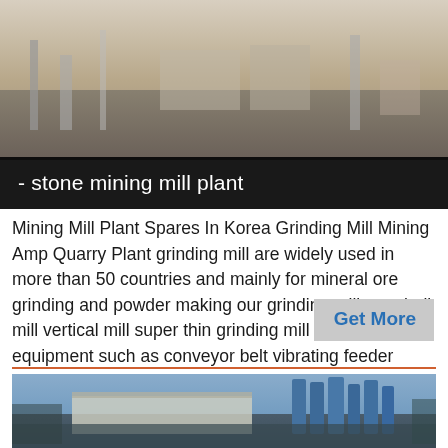[Figure (photo): Aerial or elevated view of a stone mining mill plant facility, showing industrial equipment and structures]
- stone mining mill plant
Mining Mill Plant Spares In Korea Grinding Mill Mining Amp Quarry Plant grinding mill are widely used in more than 50 countries and mainly for mineral ore grinding and powder making our grinding mills are ball mill vertical mill super thin grinding mill and other equipment such as conveyor belt vibrating feeder vibrating screen and sand washing machine
[Figure (photo): Aerial view of an industrial mining or concrete plant facility with blue silos and large warehouse buildings, surrounded by open terrain]